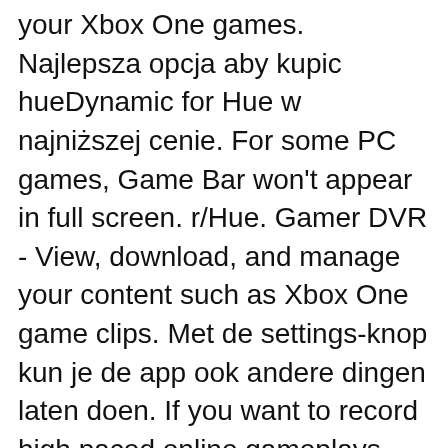your Xbox One games. Najlepsza opcja aby kupic hueDynamic for Hue w najniższej cenie. For some PC games, Game Bar won't appear in full screen. r/Hue. Gamer DVR - View, download, and manage your content such as Xbox One game clips. Met de settings-knop kun je de app ook andere dingen laten doen. If you want to record high paced online gameplays, consider Wondershare DemoCreator which is a powerful but easy-to-use screen recorder & video editor. That would be awesome. No apps on Xbox can capture the screen for security reasons, except the game DVR, and that only allows playback and is not realtime. my point was since xbox game bar is capable of screen capture can I just have it capture my screen i.e. No software installation needed. I have a problem with my Xbox Captures Okay don't tell me to restart my xbox or simple things like that i'm not a